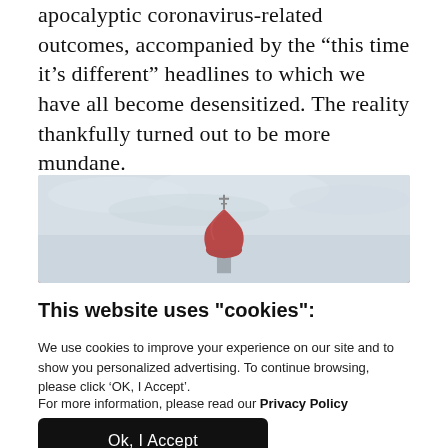apocalyptic coronavirus-related outcomes, accompanied by the “this time it’s different” headlines to which we have all become desensitized. The reality thankfully turned out to be more mundane.
[Figure (photo): Partial view of a Russian Orthodox church dome (red/maroon onion dome with a cross on top) against a light grey cloudy sky.]
This website uses "cookies":
We use cookies to improve your experience on our site and to show you personalized advertising. To continue browsing, please click ‘OK, I Accept’.
For more information, please read our Privacy Policy
Ok, I Accept